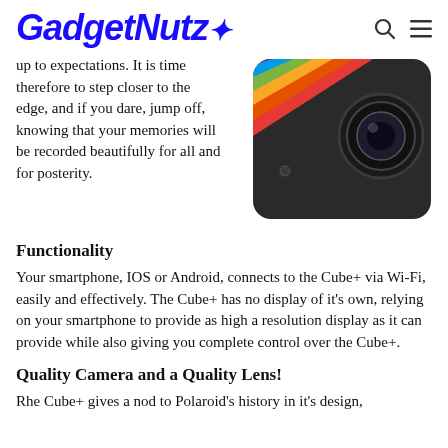GadgetNutz
[Figure (photo): Polaroid Cube+ action camera, black cube shape with rainbow stripe and camera lens visible on top-right corner]
up to expectations. It is time therefore to step closer to the edge, and if you dare, jump off, knowing that your memories will be recorded beautifully for all and for posterity.
Functionality
Your smartphone, IOS or Android, connects to the Cube+ via Wi-Fi, easily and effectively. The Cube+ has no display of it's own, relying on your smartphone to provide as high a resolution display as it can provide while also giving you complete control over the Cube+.
Quality Camera and a Quality Lens!
Rhe Cube+ gives a nod to Polaroid's history in it's design,